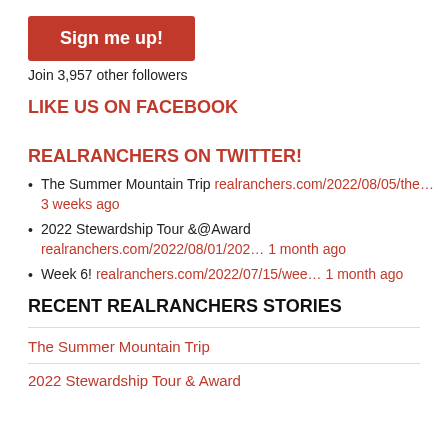[Figure (other): Red 'Sign me up!' button]
Join 3,957 other followers
LIKE US ON FACEBOOK
REALRANCHERS ON TWITTER!
The Summer Mountain Trip realranchers.com/2022/08/05/the… 3 weeks ago
2022 Stewardship Tour &@Award realranchers.com/2022/08/01/202… 1 month ago
Week 6! realranchers.com/2022/07/15/wee… 1 month ago
RECENT REALRANCHERS STORIES
The Summer Mountain Trip
2022 Stewardship Tour & Award